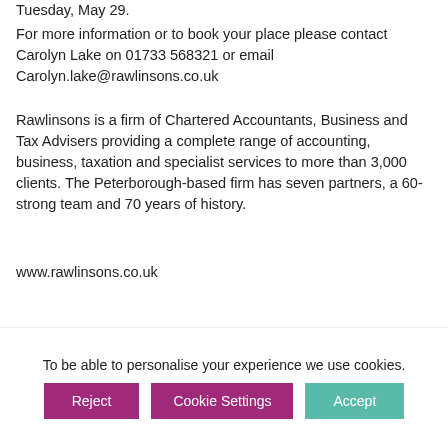Tuesday, May 29.
For more information or to book your place please contact Carolyn Lake on 01733 568321 or email Carolyn.lake@rawlinsons.co.uk
Rawlinsons is a firm of Chartered Accountants, Business and Tax Advisers providing a complete range of accounting, business, taxation and specialist services to more than 3,000 clients. The Peterborough-based firm has seven partners, a 60-strong team and 70 years of history.
www.rawlinsons.co.uk
[Figure (illustration): Three overlapping dark circular shapes representing people/profile icons above a purple banner]
Join Peterborough's Bondholder Network
To be able to personalise your experience we use cookies.
Reject   Cookie Settings   Accept